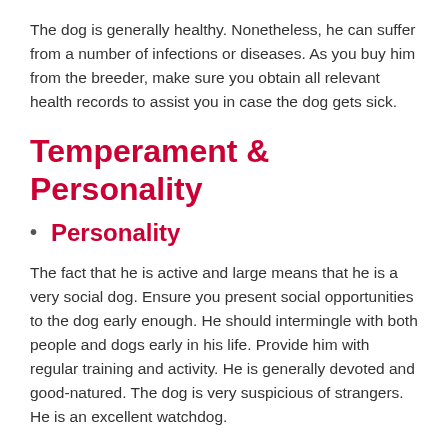The dog is generally healthy. Nonetheless, he can suffer from a number of infections or diseases. As you buy him from the breeder, make sure you obtain all relevant health records to assist you in case the dog gets sick.
Temperament & Personality
Personality
The fact that he is active and large means that he is a very social dog. Ensure you present social opportunities to the dog early enough. He should intermingle with both people and dogs early in his life. Provide him with regular training and activity. He is generally devoted and good-natured. The dog is very suspicious of strangers. He is an excellent watchdog.